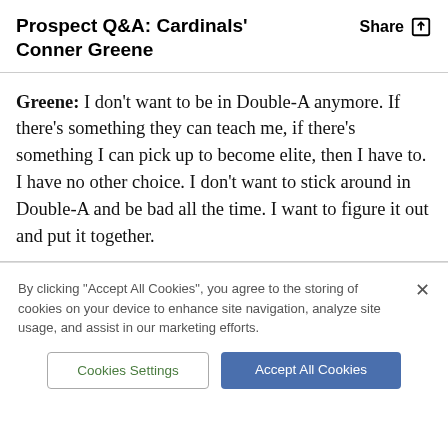Prospect Q&A: Cardinals' Conner Greene
Greene: I don't want to be in Double-A anymore. If there's something they can teach me, if there's something I can pick up to become elite, then I have to. I have no other choice. I don't want to stick around in Double-A and be bad all the time. I want to figure it out and put it together.
By clicking "Accept All Cookies", you agree to the storing of cookies on your device to enhance site navigation, analyze site usage, and assist in our marketing efforts.
Cookies Settings
Accept All Cookies